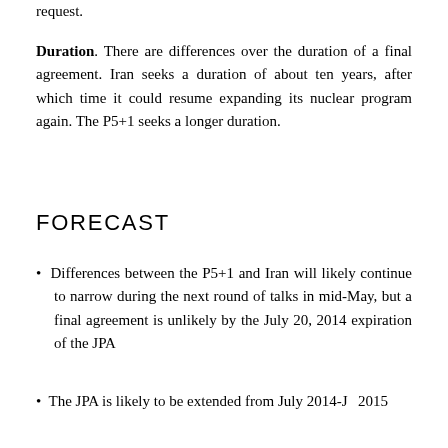request.
Duration. There are differences over the duration of a final agreement. Iran seeks a duration of about ten years, after which time it could resume expanding its nuclear program again. The P5+1 seeks a longer duration.
FORECAST
Differences between the P5+1 and Iran will likely continue to narrow during the next round of talks in mid-May, but a final agreement is unlikely by the July 20, 2014 expiration of the JPA
The JPA is likely to be extended from July 2014-J... 2015